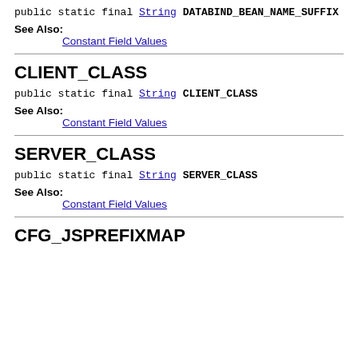public static final String DATABIND_BEAN_NAME_SUFFIX
See Also:
Constant Field Values
CLIENT_CLASS
public static final String CLIENT_CLASS
See Also:
Constant Field Values
SERVER_CLASS
public static final String SERVER_CLASS
See Also:
Constant Field Values
CFG_JSPREFIXMAP